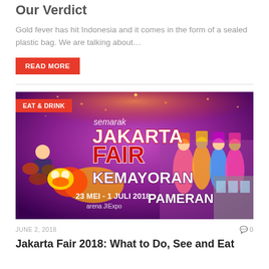Our Verdict
Gold fever has hit Indonesia and it comes in the form of a sealed plastic bag. We are talking about…
READ MORE
[Figure (photo): Jakarta Fair 2018 promotional banner showing festival performers in traditional costumes, large text reading 'semarak JAKARTA FAIR KEMAYORAN' and '23 MEI - 1 JULI 2018 arena JIExpo PAMERAN', with colorful fireworks and crowd imagery. Red 'EAT & DRINK' badge in top left corner.]
JUNE 2, 2018
0
Jakarta Fair 2018: What to Do, See and Eat